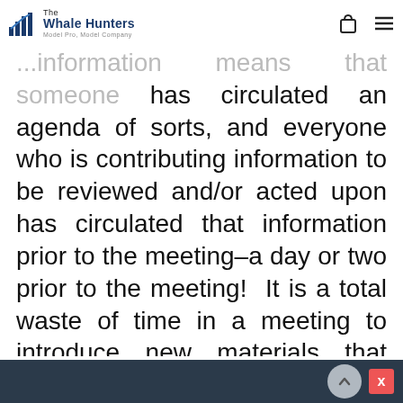The Whale Hunters | Model Pro, Model Company
...information means that someone has circulated an agenda of sorts, and everyone who is contributing information to be reviewed and/or acted upon has circulated that information prior to the meeting–a day or two prior to the meeting!  It is a total waste of time in a meeting to introduce new materials that participants have not had the chance to review.  This rule works two ways–the people responsible to contribute materials for any given meeting agree to circulate them in advance, and the people participating in the meeting agree to read and be prepared for